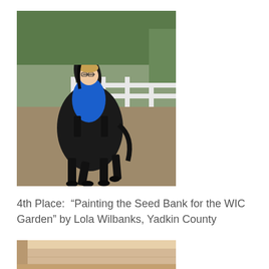[Figure (photo): A person wearing a blue jacket and glasses riding a black horse in a sandy arena with white fence in background and green trees.]
4th Place:  “Painting the Seed Bank for the WIC Garden” by Lola Wilbanks, Yadkin County
[Figure (photo): Partial view of a wooden structure or box, possibly a seed bank or garden item, with warm tan/beige wooden tones.]